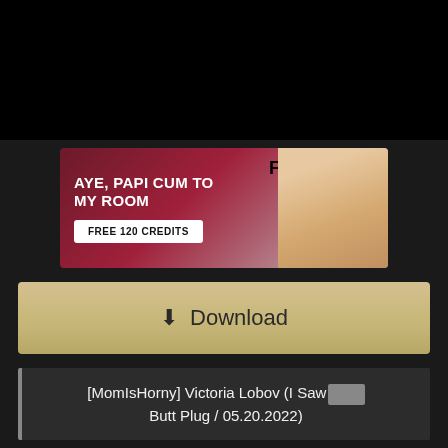[Figure (other): Black video player area at the top of the page]
[Figure (other): Advertisement banner: AYE, PAPI CUM TO MY ROOM - FREE 120 CREDITS - F4F logo with model photo]
Download
[MomIsHorny] Victoria Lobov (I Saw Your Butt Plug / 05.20.2022)